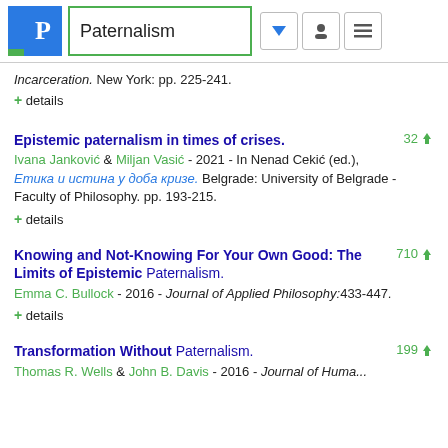Paternalism
Incarceration. New York: pp. 225-241.
+ details
Epistemic paternalism in times of crises.
Ivana Janković & Miljan Vasić - 2021 - In Nenad Cekić (ed.), Етика и истина у доба кризе. Belgrade: University of Belgrade - Faculty of Philosophy. pp. 193-215.
+ details
Knowing and Not-Knowing For Your Own Good: The Limits of Epistemic Paternalism.
Emma C. Bullock - 2016 - Journal of Applied Philosophy:433-447.
+ details
Transformation Without Paternalism.
Thomas R. Wells & John B. Davis - 2016 - Journal of Human...